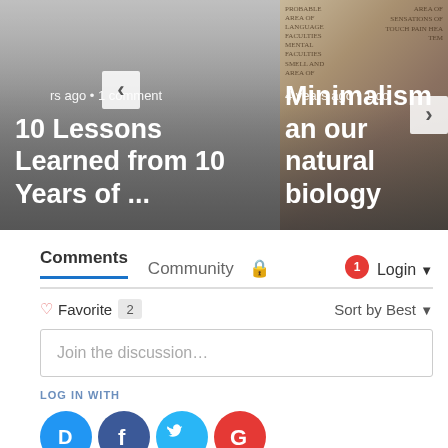[Figure (screenshot): Carousel with two article cards. Left card shows '10 Lessons Learned from 10 Years of ...' with gray overlay. Right card shows 'Minimalism and our natural biology' with a vintage brain illustration background. Navigation arrows on sides. Both show '4 years ago • 1 comment' metadata.]
Comments  Community  🔒  1  Login
♡ Favorite  2   Sort by Best ▾
Join the discussion…
LOG IN WITH
[Figure (logo): Social login icons: Disqus (D, blue), Facebook (f, dark blue), Twitter (bird, light blue), Google (G, red)]
OR SIGN UP WITH DISQUS ?